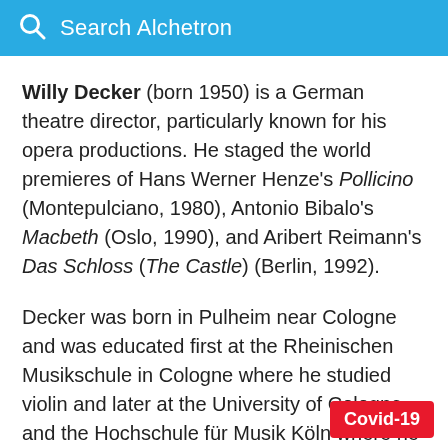Search Alchetron
Willy Decker (born 1950) is a German theatre director, particularly known for his opera productions. He staged the world premieres of Hans Werner Henze's Pollicino (Montepulciano, 1980), Antonio Bibalo's Macbeth (Oslo, 1990), and Aribert Reimann's Das Schloss (The Castle) (Berlin, 1992).
Decker was born in Pulheim near Cologne and was educated first at the Rheinischen Musikschule in Cologne where he studied violin and later at the University of Cologne and the Hochschule für Musik Köln where he studied philosophy,